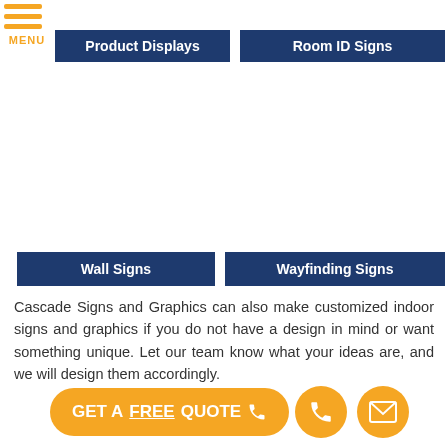[Figure (screenshot): Menu hamburger icon with orange bars and MENU label]
Product Displays
Room ID Signs
Wall Signs
Wayfinding Signs
Cascade Signs and Graphics can also make customized indoor signs and graphics if you do not have a design in mind or want something unique. Let our team know what your ideas are, and we will design them accordingly.
GET A FREE QUOTE